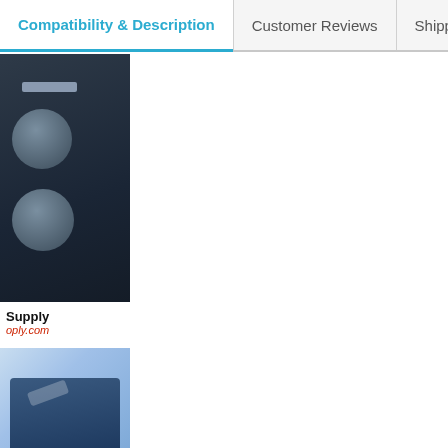Compatibility & Description | Customer Reviews | Shipping
[Figure (photo): Close-up photo of a dark-colored electronic device (likely a printer or copier toner cartridge/drum unit) with circular openings and a slot, branded with 'Supply' and a URL 'oply.com' in red italic text at the bottom of the image.]
[Figure (photo): Partial photo showing a blue-toned electronic device or component against a light blue background, cropped at the bottom of the page.]